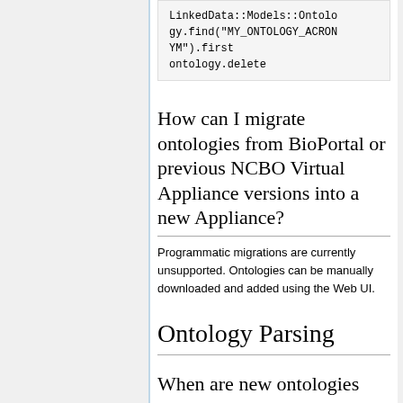LinkedData::Models::Ontology.find("MY_ONTOLOGY_ACRONYM").first
ontology.delete
How can I migrate ontologies from BioPortal or previous NCBO Virtual Appliance versions into a new Appliance?
Programmatic migrations are currently unsupported. Ontologies can be manually downloaded and added using the Web UI.
Ontology Parsing
When are new ontologies